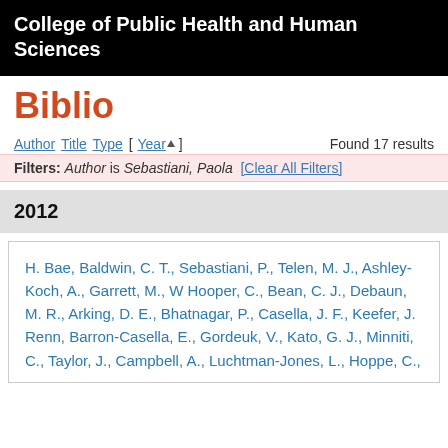College of Public Health and Human Sciences
Biblio
Author Title Type [ Year▲ ]    Found 17 results
Filters: Author is Sebastiani, Paola  [Clear All Filters]
2012
H. Bae, Baldwin, C. T., Sebastiani, P., Telen, M. J., Ashley-Koch, A., Garrett, M., W Hooper, C., Bean, C. J., Debaun, M. R., Arking, D. E., Bhatnagar, P., Casella, J. F., Keefer, J. Renn, Barron-Casella, E., Gordeuk, V., Kato, G. J., Minniti, C., Taylor, J., Campbell, A., Luchtman-Jones, L., Hoppe, C.,